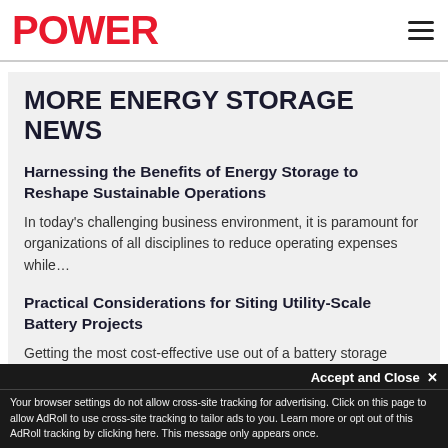POWER
MORE ENERGY STORAGE NEWS
Harnessing the Benefits of Energy Storage to Reshape Sustainable Operations
In today's challenging business environment, it is paramount for organizations of all disciplines to reduce operating expenses while…
Practical Considerations for Siting Utility-Scale Battery Projects
Getting the most cost-effective use out of a battery storage system isn't just a matter of plug-and-play. Where…
Your browser settings do not allow cross-site tracking for advertising. Click on this page to allow AdRoll to use cross-site tracking to tailor ads to you. Learn more or opt out of this AdRoll tracking by clicking here. This message only appears once.